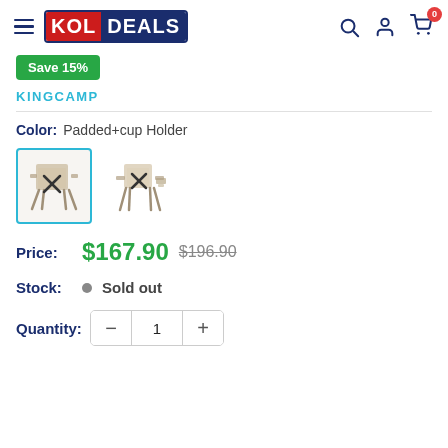KOLDEALS header with navigation icons
Save 15%
KINGCAMP
Color: Padded+cup Holder
[Figure (photo): Two folding camping chairs shown as product thumbnails, first selected with teal border]
Price: $167.90 $196.90
Stock: Sold out
Quantity: 1